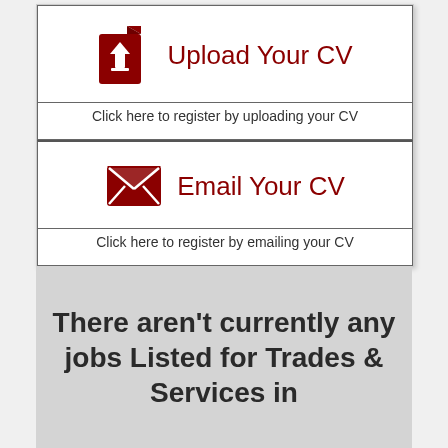[Figure (infographic): Upload Your CV section with dark red document upload icon and title text, with subtitle 'Click here to register by uploading your CV']
Click here to register by uploading your CV
[Figure (infographic): Email Your CV section with dark red envelope icon and title text, with subtitle 'Click here to register by emailing your CV']
Click here to register by emailing your CV
There aren't currently any jobs Listed for Trades & Services in